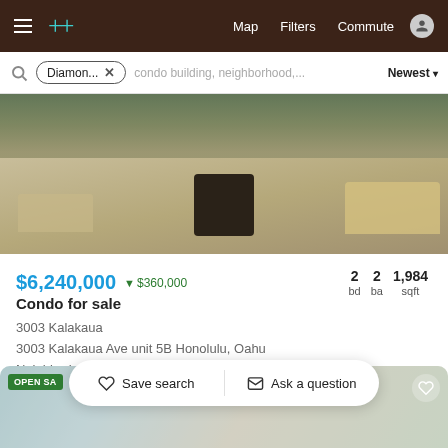Menu | Logo | Map | Filters | Commute | User
Diamon... × condo building, neighborhood,... Newest
[Figure (photo): Interior living room photo of a luxury condo with wood flooring, modern furniture including a dark armchair in the center, beige sofas, and an open floor plan.]
$6,240,000 ▼ $360,000 2 bd 2 ba 1,984 sqft
Condo for sale
3003 Kalakaua
3003 Kalakaua Ave unit 5B Honolulu, Oahu
Neighborhood: Diamond Head
[Figure (photo): Partial view of another listing card showing an interior room with artwork and plants. An 'OPEN SA...' badge is visible.]
Save search
Ask a question